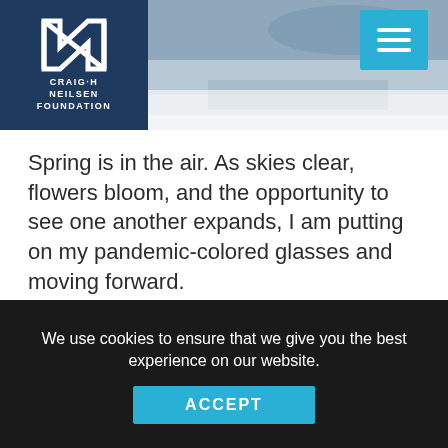[Figure (logo): Craig H. Neilsen Foundation logo — stylized N lettermark in white on dark navy background with text CRAIG·H NEILSEN FOUNDATION below]
Spring is in the air. As skies clear, flowers bloom, and the opportunity to see one another expands, I am putting on my pandemic-colored glasses and moving forward.
Ensuring our partners and grantees have the support they need, both time and money, and increasing relationship-building opportunities with the Foundation staff continue to be top priorities.
We use cookies to ensure that we give you the best experience on our website.